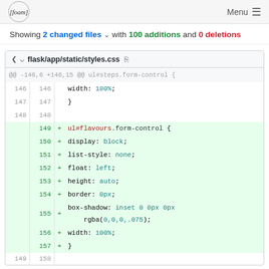[foam] Menu
Showing 2 changed files with 100 additions and 0 deletions
flask/app/static/styles.css - diff view showing lines 146-157 with additions for ul#flavours.form-control block